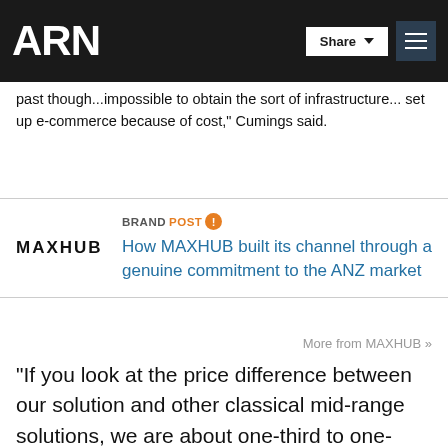ARN
past though...impossible to obtain the sort of infrastructure...set up e-commerce because of cost," Cumings said.
[Figure (logo): MAXHUB logo in black text]
BRANDPOST How MAXHUB built its channel through a genuine commitment to the ANZ market
More from MAXHUB »
"If you look at the price difference between our solution and other classical mid-range solutions, we are about one-third to one-quarter the price."
The servers have been designed for future upgrades and easy servicing with features to minimise down-time, according to...